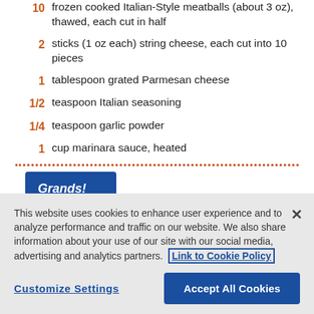10 frozen cooked Italian-Style meatballs (about 3 oz), thawed, each cut in half
2 sticks (1 oz each) string cheese, each cut into 10 pieces
1 tablespoon grated Parmesan cheese
1/2 teaspoon Italian seasoning
1/4 teaspoon garlic powder
1 cup marinara sauce, heated
[Figure (logo): Grands! product package logo — blue rectangular box with 'Grands!' in white italic text]
This website uses cookies to enhance user experience and to analyze performance and traffic on our website. We also share information about your use of our site with our social media, advertising and analytics partners. Link to Cookie Policy
Customize Settings   Accept All Cookies